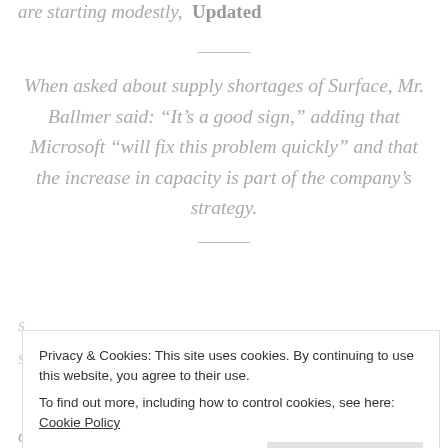are starting modestly,  Updated
When asked about supply shortages of Surface, Mr. Ballmer said: “It’s a good sign,” adding that Microsoft “will fix this problem quickly” and that the increase in capacity is part of the company’s strategy.
Privacy & Cookies: This site uses cookies. By continuing to use this website, you agree to their use. To find out more, including how to control cookies, see here: Cookie Policy
Close and accept
over the place, special promotions in shops, pretty